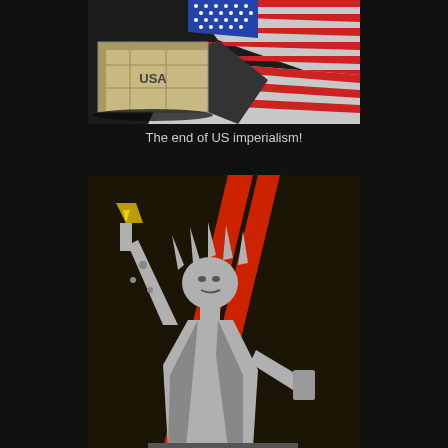[Figure (illustration): Illustration of a wooden crate labeled 'USA' with an American flag draped and crumpled behind it on a dark background.]
The end of US imperialism!
[Figure (illustration): Stencil-style illustration of the Statue of Liberty on a dark background with bold red diagonal slash marks behind it.]